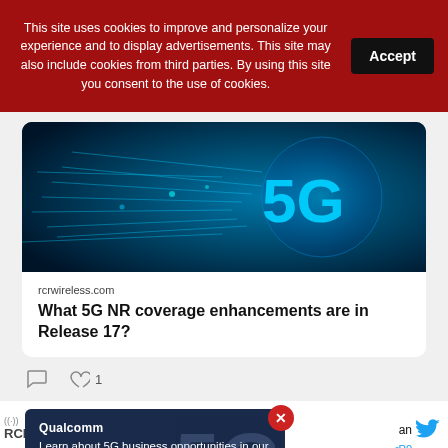This site uses cookies to improve and personalize your experience and to display advertisements. This site may also include cookies from third parties. By using this site you consent to the use of cookies.
Accept
[Figure (photo): 5G technology promotional image with glowing blue 5G text and speed lines on dark blue background]
rcrwireless.com
What 5G NR coverage enhancements are in Release 17?
[Figure (screenshot): RCR Wireless logo, Twitter icon, advertisement overlay from Qualcomm about 5G Master Classes with Learn more button and close button]